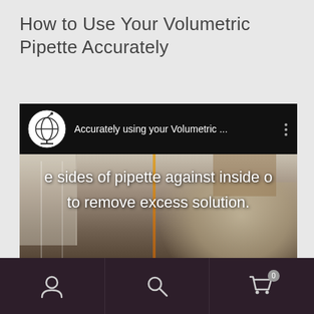How to Use Your Volumetric Pipette Accurately
[Figure (screenshot): A YouTube-style video thumbnail showing a person in a lab holding a pipette, with subtitle text 'e sides of pipette against inside o to remove excess solution.' and a channel header showing 'Accurately using your Volumetric ...']
Navigation bar with user, search, and cart (0) icons